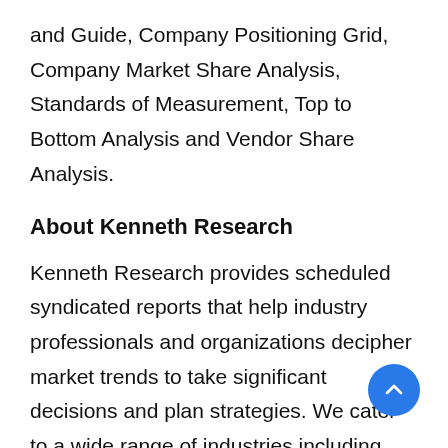and Guide, Company Positioning Grid, Company Market Share Analysis, Standards of Measurement, Top to Bottom Analysis and Vendor Share Analysis.
About Kenneth Research
Kenneth Research provides scheduled syndicated reports that help industry professionals and organizations decipher market trends to take significant decisions and plan strategies. We cater to a wide range of industries including healthcare & pharmaceuticals, ICT & telecom, automotive & transportation, energy & power, chemicals, FMCG & food, aerospace & defence, among others. Our